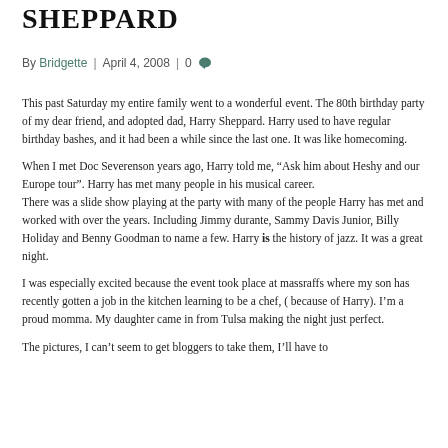SHEPPARD
By Bridgette  |  April 4, 2008  |  0
This past Saturday my entire family went to a wonderful event. The 80th birthday party of my dear friend, and adopted dad, Harry Sheppard. Harry used to have regular birthday bashes, and it had been a while since the last one. It was like homecoming.
When I met Doc Severenson years ago, Harry told me, “Ask him about Heshy and our Europe tour”. Harry has met many people in his musical career.
There was a slide show playing at the party with many of the people Harry has met and worked with over the years. Including Jimmy durante, Sammy Davis Junior, Billy Holiday and Benny Goodman to name a few. Harry is the history of jazz. It was a great night.
I was especially excited because the event took place at massraffs where my son has recently gotten a job in the kitchen learning to be a chef, ( because of Harry). I’m a proud momma. My daughter came in from Tulsa making the night just perfect.
The pictures, I can’t seem to get bloggers to take them, I’ll have to